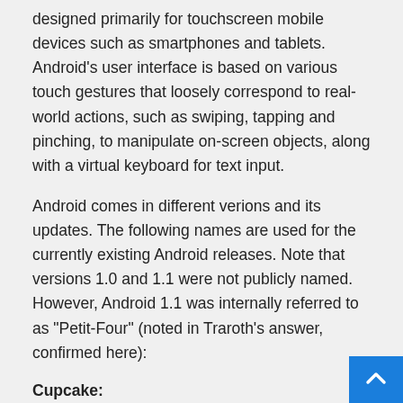designed primarily for touchscreen mobile devices such as smartphones and tablets. Android's user interface is based on various touch gestures that loosely correspond to real-world actions, such as swiping, tapping and pinching, to manipulate on-screen objects, along with a virtual keyboard for text input.
Android comes in different verions and its updates. The following names are used for the currently existing Android releases. Note that versions 1.0 and 1.1 were not publicly named. However, Android 1.1 was internally referred to as "Petit-Four" (noted in Traroth's answer, confirmed here):
Cupcake:
Android 1.5